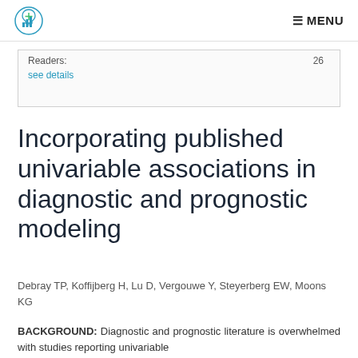MENU
| Readers: | 26 |
| --- | --- |
| see details |  |
Incorporating published univariable associations in diagnostic and prognostic modeling
Debray TP, Koffijberg H, Lu D, Vergouwe Y, Steyerberg EW, Moons KG
BACKGROUND: Diagnostic and prognostic literature is overwhelmed with studies reporting univariable predictor associations. Some methods have been